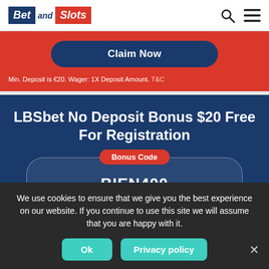BetandSlots logo with search and menu icons
Claim Now
Min. Deposit is €20. Wager: 1X Deposit Amount. T&C
LBSbet No Deposit Bonus $20 Free For Registration
Bonus Code
BIEN400
We use cookies to ensure that we give you the best experience on our website. If you continue to use this site we will assume that you are happy with it.
Ok
Privacy policy